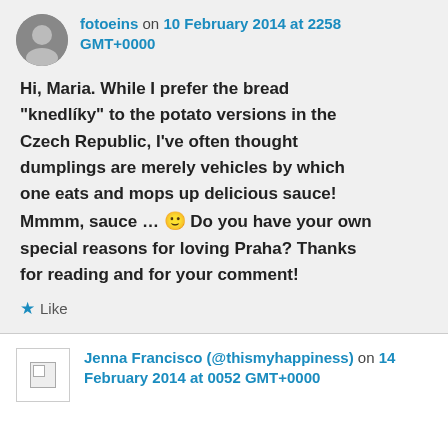fotoeins on 10 February 2014 at 2258 GMT+0000
Hi, Maria. While I prefer the bread "knedlíky" to the potato versions in the Czech Republic, I've often thought dumplings are merely vehicles by which one eats and mops up delicious sauce! Mmmm, sauce … 🙂 Do you have your own special reasons for loving Praha? Thanks for reading and for your comment!
★ Like
Jenna Francisco (@thismyhappiness) on 14 February 2014 at 0052 GMT+0000